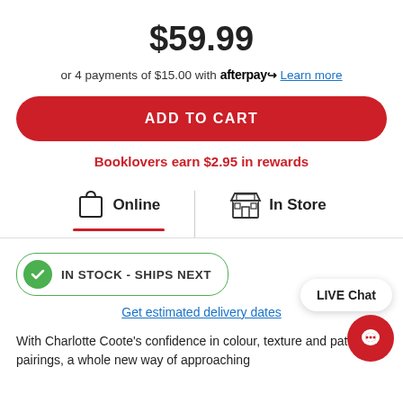$59.99
or 4 payments of $15.00 with afterpay Learn more
ADD TO CART
Booklovers earn $2.95 in rewards
Online | In Store
IN STOCK - SHIPS NEXT
LIVE Chat
Get estimated delivery dates
With Charlotte Coote's confidence in colour, texture and pattern pairings, a whole new way of approaching